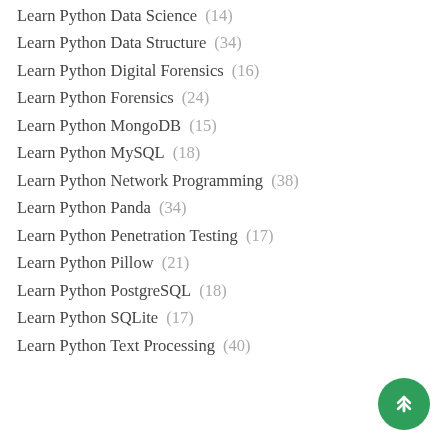Learn Python Data Science (14)
Learn Python Data Structure (34)
Learn Python Digital Forensics (16)
Learn Python Forensics (24)
Learn Python MongoDB (15)
Learn Python MySQL (18)
Learn Python Network Programming (38)
Learn Python Panda (34)
Learn Python Penetration Testing (17)
Learn Python Pillow (21)
Learn Python PostgreSQL (18)
Learn Python SQLite (17)
Learn Python Text Processing (40)